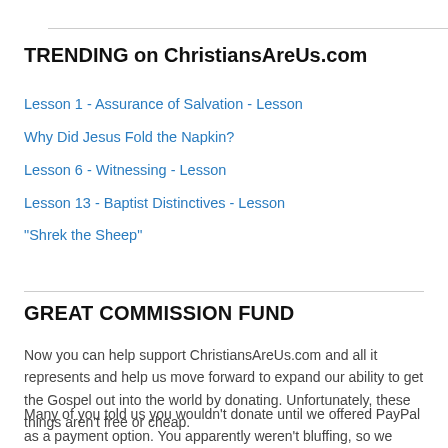TRENDING on ChristiansAreUs.com
Lesson 1 - Assurance of Salvation - Lesson
Why Did Jesus Fold the Napkin?
Lesson 6 - Witnessing - Lesson
Lesson 13 - Baptist Distinctives - Lesson
"Shrek the Sheep"
GREAT COMMISSION FUND
Now you can help support ChristiansAreUs.com and all it represents and help us move forward to expand our ability to get the Gospel out into the world by donating. Unfortunately, these things aren't free or cheap.
Many of you told us you wouldn't donate until we offered PayPal as a payment option. You apparently weren't bluffing, so we finally caved and added PayPal. Now — like the unbeliever faced with God's invisible